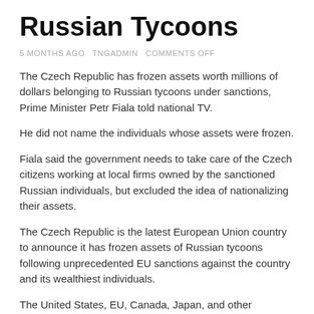Russian Tycoons
5 MONTHS AGO   TNGADMIN   COMMENTS OFF
The Czech Republic has frozen assets worth millions of dollars belonging to Russian tycoons under sanctions, Prime Minister Petr Fiala told national TV.
He did not name the individuals whose assets were frozen.
Fiala said the government needs to take care of the Czech citizens working at local firms owned by the sanctioned Russian individuals, but excluded the idea of nationalizing their assets.
The Czech Republic is the latest European Union country to announce it has frozen assets of Russian tycoons following unprecedented EU sanctions against the country and its wealthiest individuals.
The United States, EU, Canada, Japan, and other countries agreed to place sanctions on Russia's financial sector